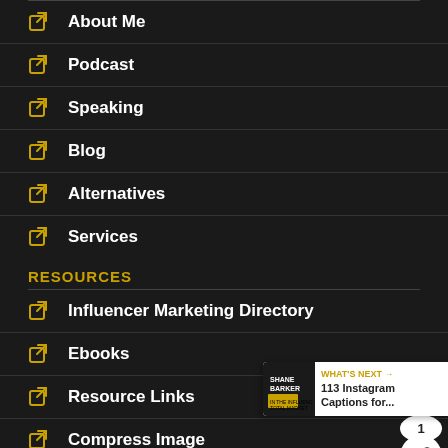About Me
Podcast
Speaking
Blog
Alternatives
Services
RESOURCES
Influencer Marketing Directory
Ebooks
Resource Links
Compress Image
LET'S CONNECT!